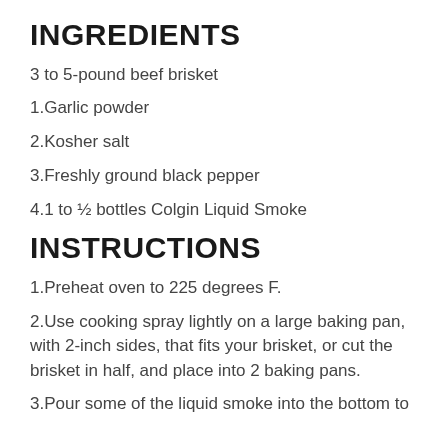INGREDIENTS
3 to 5-pound beef brisket
1.Garlic powder
2.Kosher salt
3.Freshly ground black pepper
4.1 to ½ bottles Colgin Liquid Smoke
INSTRUCTIONS
1.Preheat oven to 225 degrees F.
2.Use cooking spray lightly on a large baking pan, with 2-inch sides, that fits your brisket, or cut the brisket in half, and place into 2 baking pans.
3.Pour some of the liquid smoke into the bottom to